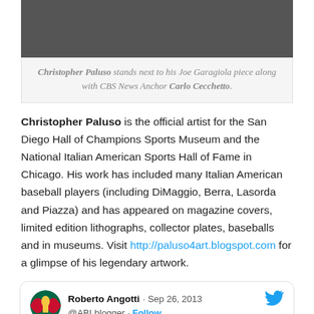[Figure (photo): Cropped photo of two people standing together indoors]
Christopher Paluso stands next to his Joe Garagiola piece along with CBS News Anchor Carlo Cecchetto.
Christopher Paluso is the official artist for the San Diego Hall of Champions Sports Museum and the National Italian American Sports Hall of Fame in Chicago. His work has included many Italian American baseball players (including DiMaggio, Berra, Lasorda and Piazza) and has appeared on magazine covers, limited edition lithographs, collector plates, baseballs and in museums. Visit http://paluso4art.blogspot.com for a glimpse of his legendary artwork.
Roberto Angotti · Sep 26, 2013
@ABLblogger · Follow